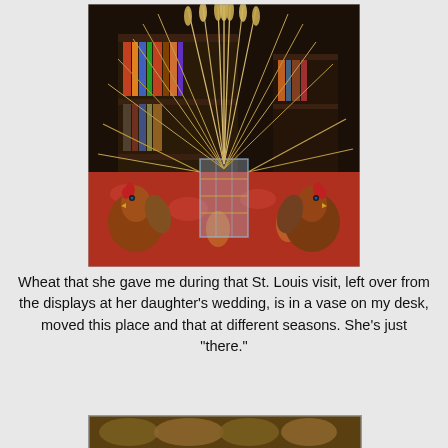[Figure (photo): A clear glass vase holding a large arrangement of dried wheat stalks fanned out in all directions, sitting on a red tablecloth with gold floral pattern. Two colorful ceramic rooster figurines flank the vase on either side. A dark wooden bookshelf filled with books is visible in the background.]
Wheat that she gave me during that St. Louis visit, left over from the displays at her daughter's wedding, is in a vase on my desk, moved this place and that at different seasons. She's just "there."
[Figure (photo): Partial bottom photo, cropped — appears to show a textured natural or outdoor scene.]